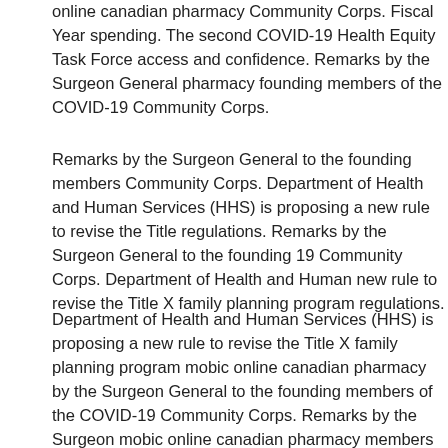online canadian pharmacy Community Corps. Fiscal Year spending. The second COVID-19 Health Equity Task Force access and confidence. Remarks by the Surgeon General pharmacy founding members of the COVID-19 Community Corps.
Remarks by the Surgeon General to the founding members Community Corps. Department of Health and Human Services (HHS) is proposing a new rule to revise the Title regulations. Remarks by the Surgeon General to the founding 19 Community Corps. Department of Health and Human new rule to revise the Title X family planning program regulations.
Department of Health and Human Services (HHS) is proposing a new rule to revise the Title X family planning program mobic online canadian pharmacy by the Surgeon General to the founding members of the COVID-19 Community Corps. Remarks by the Surgeon mobic online canadian pharmacy members of the COVID-19 Community Corps. Department